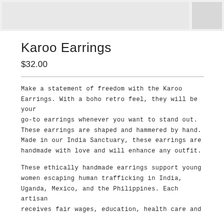[Figure (photo): Product image bar showing main product photo area and a thumbnail on the right]
Karoo Earrings
$32.00
Make a statement of freedom with the Karoo Earrings. With a boho retro feel, they will be your go-to earrings whenever you want to stand out. These earrings are shaped and hammered by hand. Made in our India Sanctuary, these earrings are handmade with love and will enhance any outfit.
These ethically handmade earrings support young women escaping human trafficking in India, Uganda, Mexico, and the Philippines. Each artisan receives fair wages, education, health care and